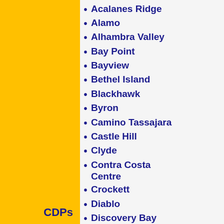Acalanes Ridge
Alamo
Alhambra Valley
Bay Point
Bayview
Bethel Island
Blackhawk
Byron
Camino Tassajara
Castle Hill
Clyde
Contra Costa Centre
Crockett
Diablo
Discovery Bay
East Richmond Heights
CDPs
El Sobrante